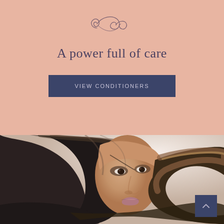[Figure (logo): Decorative cursive ornament / monogram logo in dark mauve color on pink background]
A power full of care
VIEW CONDITIONERS
[Figure (photo): Woman with long dark flowing hair, beauty/hair care product advertisement photo]
[Figure (other): Scroll-to-top arrow button, dark navy blue square with upward chevron]